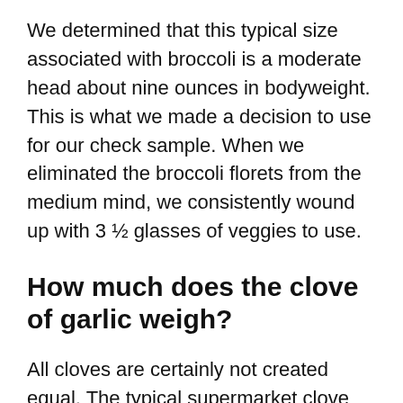We determined that this typical size associated with broccoli is a moderate head about nine ounces in bodyweight. This is what we made a decision to use for our check sample. When we eliminated the broccoli florets from the medium mind, we consistently wound up with 3 ½ glasses of veggies to use.
How much does the clove of garlic weigh?
All cloves are certainly not created equal. The typical supermarket clove weighs in at about 4-7 grms. The cloves inside gourmet garlic consider